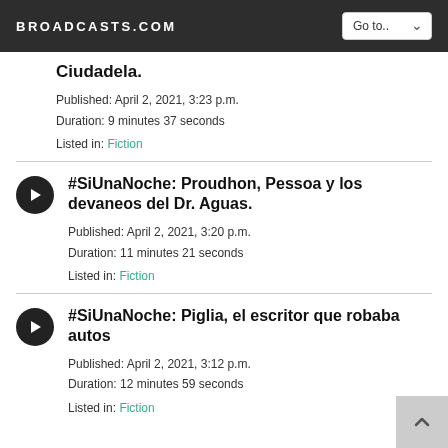BROADCASTS.COM
Ciudadela.
Published: April 2, 2021, 3:23 p.m.
Duration: 9 minutes 37 seconds
Listed in: Fiction
#SiUnaNoche: Proudhon, Pessoa y los devaneos del Dr. Aguas.
Published: April 2, 2021, 3:20 p.m.
Duration: 11 minutes 21 seconds
Listed in: Fiction
#SiUnaNoche: Piglia, el escritor que robaba autos
Published: April 2, 2021, 3:12 p.m.
Duration: 12 minutes 59 seconds
Listed in: Fiction